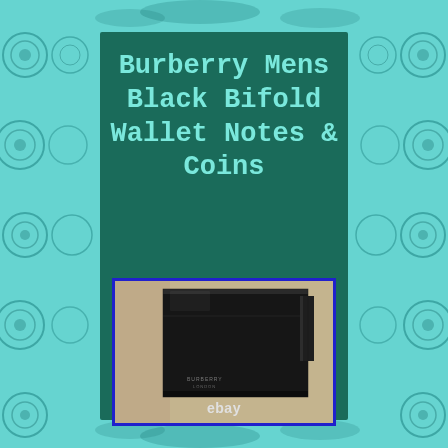Burberry Mens Black Bifold Wallet Notes & Coins
[Figure (photo): Photo of a Burberry black bifold wallet shown from the top-corner angle, with 'BURBERRY LONDON' branding visible on the wallet surface. An eBay watermark appears at the bottom of the image. The wallet is dark/black leather, displayed against a light background. The image has a blue border.]